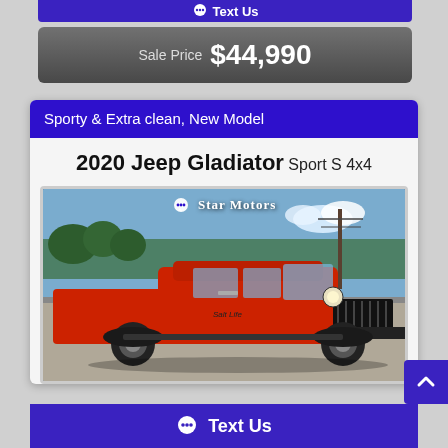Text Us
Sale Price  $44,990
Sporty & Extra clean, New Model
2020 Jeep Gladiator Sport S 4x4
[Figure (photo): Red 2020 Jeep Gladiator Sport S 4x4 pickup truck photographed at a dealership lot with Star Motors branding overlay]
Text Us